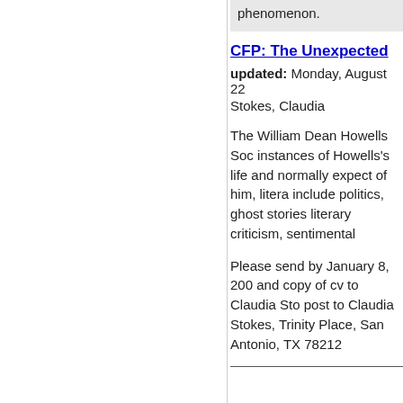phenomenon.
CFP: The Unexpected
updated: Monday, August 22
Stokes, Claudia
The William Dean Howells Soc instances of Howells's life and normally expect of him, litera include politics, ghost stories literary criticism, sentimental
Please send by January 8, 200 and copy of cv to Claudia Sto post to Claudia Stokes, Trinity Place, San Antonio, TX 78212